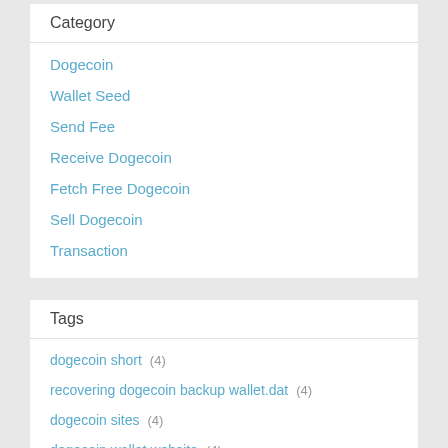Category
Dogecoin
Wallet Seed
Send Fee
Receive Dogecoin
Fetch Free Dogecoin
Sell Dogecoin
Transaction
Tags
dogecoin short  (4)
recovering dogecoin backup wallet.dat  (4)
dogecoin sites  (4)
dogecoin wallet website  (4)
biggest dogecoin walletds  (4)